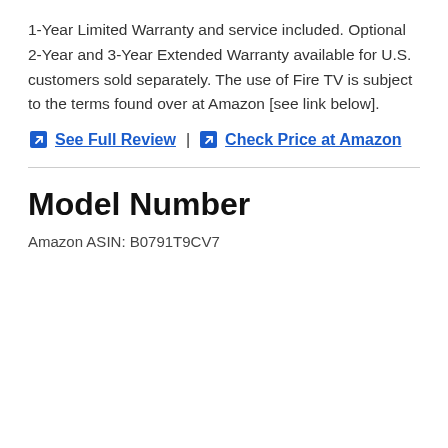1-Year Limited Warranty and service included. Optional 2-Year and 3-Year Extended Warranty available for U.S. customers sold separately. The use of Fire TV is subject to the terms found over at Amazon [see link below].
See Full Review | Check Price at Amazon
Model Number
Amazon ASIN: B0791T9CV7